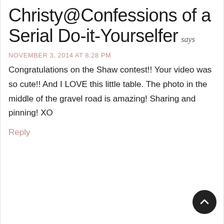Christy@Confessions of a Serial Do-it-Yourselfer says
NOVEMBER 3, 2014 AT 8:28 PM
Congratulations on the Shaw contest!! Your video was so cute!! And I LOVE this little table. The photo in the middle of the gravel road is amazing! Sharing and pinning! XO
Reply